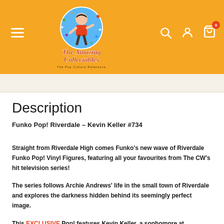[Figure (logo): The Amazing Collectables logo — circular mascot of a boy in red shirt with decorative text 'The Amazing Collectables' and tagline 'The Pop Culture Reference' on orange header background]
The Amazing Collectables — The Pop Culture Reference
Description
Funko Pop! Riverdale – Kevin Keller #734
Straight from Riverdale High comes Funko's new wave of Riverdale Funko Pop! Vinyl Figures, featuring all your favourites from The CW's hit television series!
The series follows Archie Andrews' life in the small town of Riverdale and explores the darkness hidden behind its seemingly perfect image.
This EXCLUSIVE Pop! features Kevin Keller, a sophomore at Riverdale High School and the